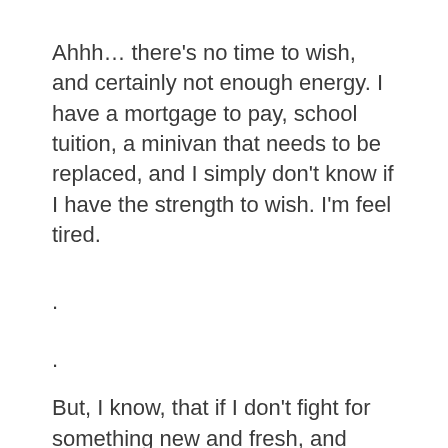Ahhh… there's no time to wish, and certainly not enough energy. I have a mortgage to pay, school tuition, a minivan that needs to be replaced, and I simply don't know if I have the strength to wish. I'm feel tired.
.
.
But, I know, that if I don't fight for something new and fresh, and don't yield my life, hope, and future to God's design, soon, I will forget that I was ever meant to live, dream, soar, or wish.
In talking with Traci, my wife, I was telling